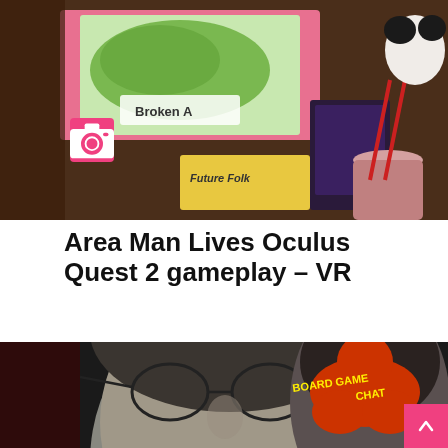[Figure (photo): Top image showing a board game tabletop scene with colorful illustrated game cards including 'Broken A...' and 'Future Folk', chopsticks and a drink cup visible, with a pink camera icon overlay]
Area Man Lives Oculus Quest 2 gameplay – VR
[Figure (photo): Bottom photo of a serious-looking older man with round glasses in foreground and a man with beard in background, with a red meeple-shaped 'BOARD GAME CHAT' logo overlay and a pink 'BOARD GAMES' tag]